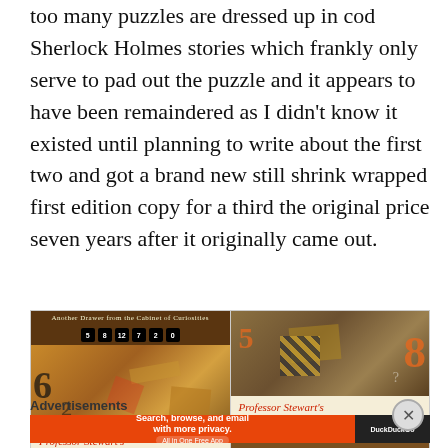too many puzzles are dressed up in cod Sherlock Holmes stories which frankly only serve to pad out the puzzle and it appears to have been remaindered as I didn't know it existed until planning to write about the first two and got a brand new still shrink wrapped first edition copy for a third the original price seven years after it originally came out.
[Figure (photo): Two book covers side by side: 'Professor Stewart's Hoard of...' on the left and 'Professor Stewart's Casebook of...' on the right, both showing puzzle-themed imagery with numbers and game pieces.]
Advertisements
[Figure (screenshot): DuckDuckGo advertisement banner: 'Search, browse, and email with more privacy. All in One Free App' on orange background with DuckDuckGo logo on dark right panel.]